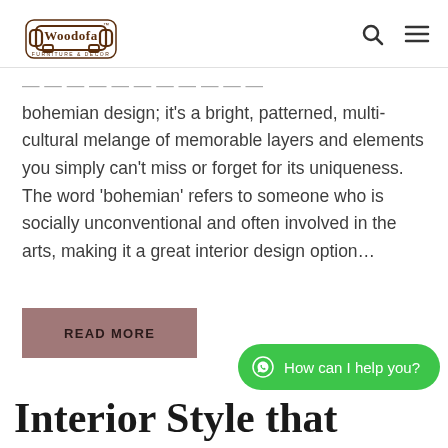Woodofa - Furniture & Decor [logo] [search icon] [menu icon]
bohemian design; it's a bright, patterned, multi-cultural melange of memorable layers and elements you simply can't miss or forget for its uniqueness. The word 'bohemian' refers to someone who is socially unconventional and often involved in the arts, making it a great interior design option…
READ MORE
How can I help you?
Interior Style that